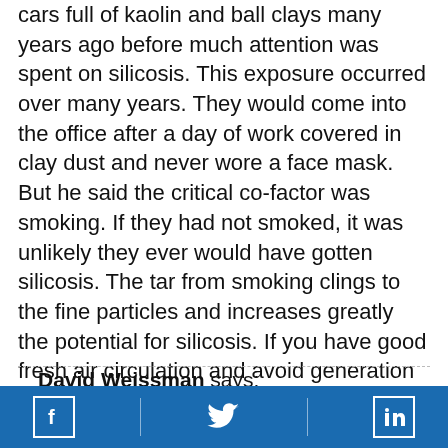cars full of kaolin and ball clays many years ago before much attention was spent on silicosis. This exposure occurred over many years. They would come into the office after a day of work covered in clay dust and never wore a face mask. But he said the critical co-factor was smoking. If they had not smoked, it was unlikely they ever would have gotten silicosis. The tar from smoking clings to the fine particles and increases greatly the potential for silicosis. If you have good fresh air circulation and avoid generation of dust, you are going to be fine.
David Weissman says: October 29, 2015 at 12:28 pm Thank you for your comment. We are sorry to
[Facebook icon] [Twitter icon] [LinkedIn icon]